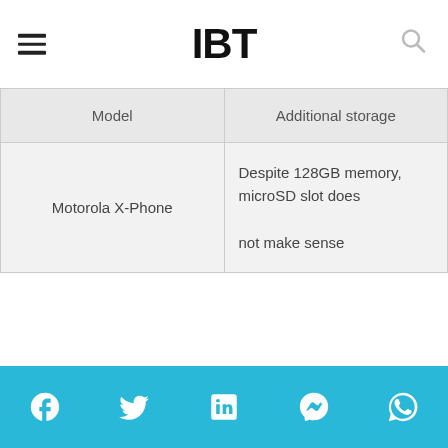IBT
| Model | Additional storage |
| --- | --- |
| Motorola X-Phone | Despite 128GB memory, microSD slot does not make sense |
| Model | Camera |
| --- | --- |
| Motorola X-Phone | Expected to sport high-definition camera |